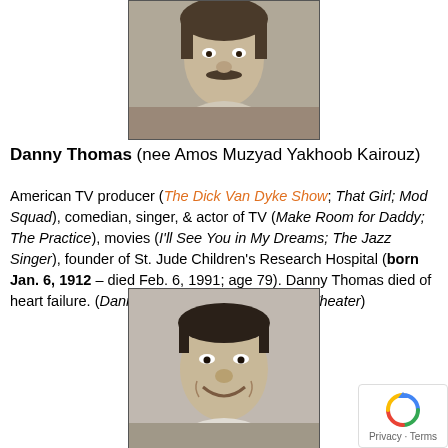[Figure (photo): Black and white portrait photo of Danny Thomas, a man with a mustache]
Danny Thomas (nee Amos Muzyad Yakhoob Kairouz)
American TV producer (The Dick Van Dyke Show; That Girl; Mod Squad), comedian, singer, & actor of TV (Make Room for Daddy; The Practice), movies (I'll See You in My Dreams; The Jazz Singer), founder of St. Jude Children's Research Hospital (born Jan. 6, 1912 – died Feb. 6, 1991; age 79). Danny Thomas died of heart failure. (Danny Thomas 1961 Zane Grey Theater)
[Figure (photo): Black and white portrait photo of a smiling man]
[Figure (other): reCAPTCHA privacy badge with Privacy · Terms text]